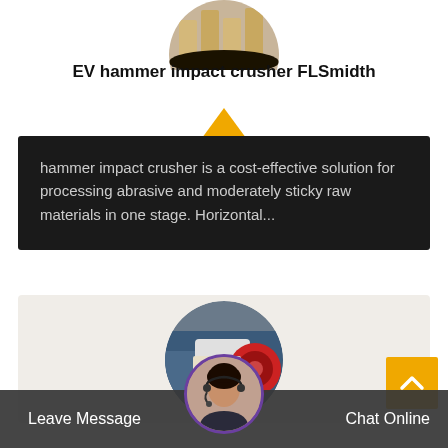[Figure (photo): Circular cropped photo of industrial equipment (hammer impact crusher parts) at the top of the page]
EV hammer impact crusher FLSmidth
hammer impact crusher is a cost-effective solution for processing abrasive and moderately sticky raw materials in one stage. Horizontal...
[Figure (photo): Circular cropped photo of an industrial jaw/impact crusher machine in a factory setting]
[Figure (photo): Circular chat avatar photo of a woman with a headset microphone]